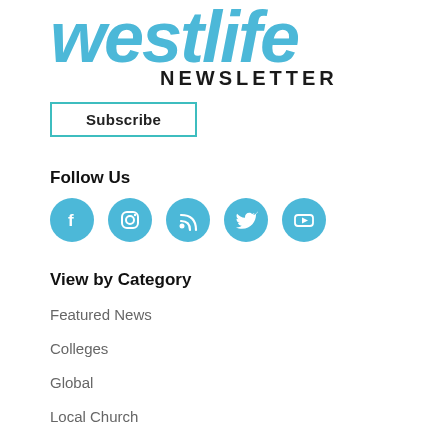[Figure (logo): Westlife Newsletter logo with blue cursive 'westlife' text and bold black 'NEWSLETTER' text below]
Subscribe
Follow Us
[Figure (infographic): Five social media icons in blue circles: Facebook, Instagram, RSS feed, Twitter, YouTube]
View by Category
Featured News
Colleges
Global
Local Church